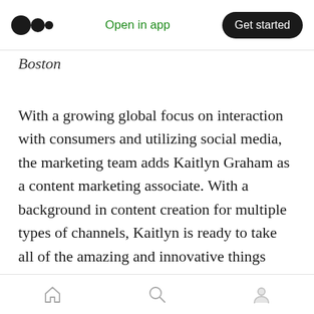Open in app | Get started
Boston
With a growing global focus on interaction with consumers and utilizing social media, the marketing team adds Kaitlyn Graham as a content marketing associate. With a background in content creation for multiple types of channels, Kaitlyn is ready to take all of the amazing and innovative things happening at Airfox and turn them into content for followers to see. Kaitlyn has worked as part of the marketing team for various-sized companies,
Home | Search | Profile